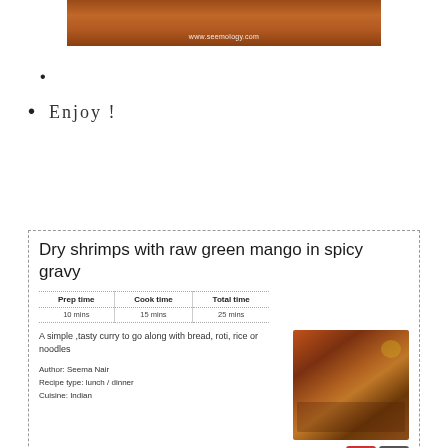[Figure (photo): Food photo showing shrimp curry dish with watermark www.seemology.com]
Enjoy !
Dry shrimps with raw green mango in spicy gravy
| Prep time | Cook time | Total time |
| --- | --- | --- |
| 10 mins | 15 mins | 25 mins |
A simple ,tasty curry to go along with bread, roti, rice or noodles
Author: Seema Nair
Recipe type: lunch / dinner
Cuisine: Indian
[Figure (photo): Photo of dry shrimps with raw green mango in spicy gravy dish]